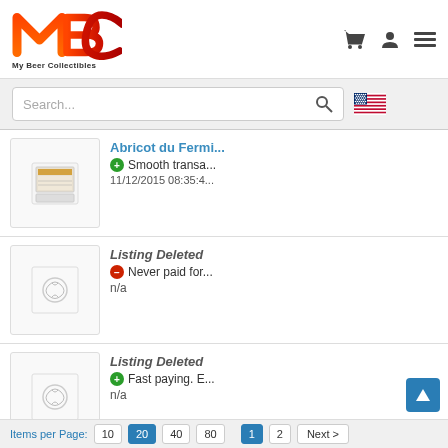[Figure (logo): MBC My Beer Collectibles logo - orange and red stylized letters MBC with tagline 'My Beer Collectibles']
[Figure (screenshot): Search bar with placeholder text 'Search...' and magnifying glass icon, plus US flag icon]
Abricot du Fermi...
Smooth transa...
11/12/2015 08:35:4...
Listing Deleted
Never paid for...
n/a
Listing Deleted
Fast paying. E...
n/a
Items per Page:  10  20  40  80    1  2  Next >